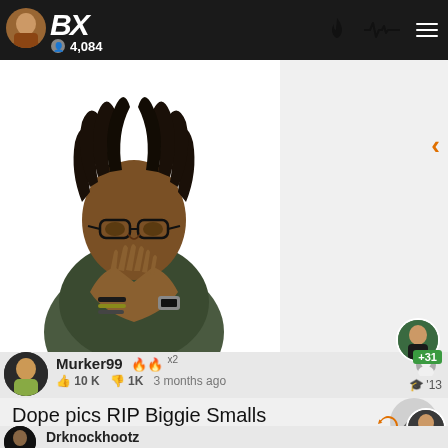BX | 4,084
[Figure (photo): Profile photo of a person with dreadlocks wearing glasses, hands pressed together in a prayer pose, wearing a dark jacket and bracelets]
Murker99 🔥×2 | 👍 10K 👎 1K 3 months ago | '13
Dope pics RIP Biggie Smalls
Drknockhootz